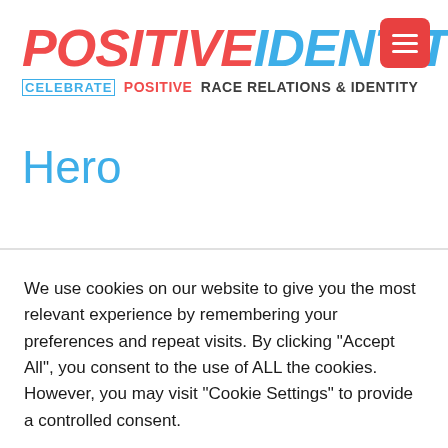Positive Identity
CELEBRATE POSITIVE RACE RELATIONS & IDENTITY
Hero
We use cookies on our website to give you the most relevant experience by remembering your preferences and repeat visits. By clicking "Accept All", you consent to the use of ALL the cookies. However, you may visit "Cookie Settings" to provide a controlled consent.
Cookie Settings
Accept All